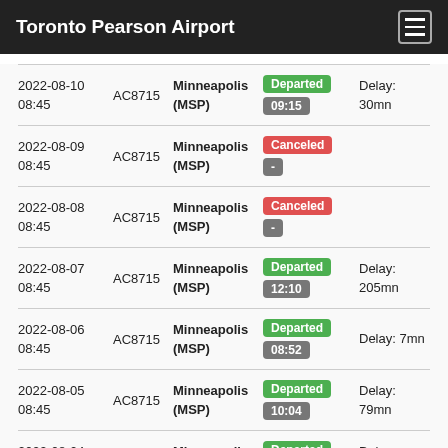Toronto Pearson Airport
| Date/Time | Flight | Destination | Status | Delay |
| --- | --- | --- | --- | --- |
| 2022-08-10 08:45 | AC8715 | Minneapolis (MSP) | Departed 09:15 | Delay: 30mn |
| 2022-08-09 08:45 | AC8715 | Minneapolis (MSP) | Canceled - |  |
| 2022-08-08 08:45 | AC8715 | Minneapolis (MSP) | Canceled - |  |
| 2022-08-07 08:45 | AC8715 | Minneapolis (MSP) | Departed 12:10 | Delay: 205mn |
| 2022-08-06 08:45 | AC8715 | Minneapolis (MSP) | Departed 08:52 | Delay: 7mn |
| 2022-08-05 08:45 | AC8715 | Minneapolis (MSP) | Departed 10:04 | Delay: 79mn |
| 2022-08-04 08:45 | AC8715 | Minneapolis (MSP) | Departed 10:26 | Delay: 101mn |
| 2022-08-03 | AC8715 | Minneapolis (MSP) | Departed |  |